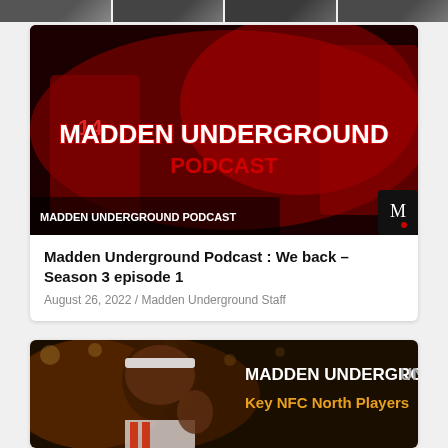[Figure (screenshot): Top strip showing multiple small thumbnail images of people]
[Figure (screenshot): Madden Underground Podcast banner image with red background, football players, and text 'MADDEN UNDERGROUND' and 'MADDEN UNDERGROUND PODCAST']
Madden Underground Podcast : We back – Season 3 episode 1
August 26, 2022 / Madden Underground Staff
[Figure (screenshot): Madden Underground Key NFC North Players image showing a football player with text 'MADDEN UNDERGROUND' and 'Key NFC North Players']